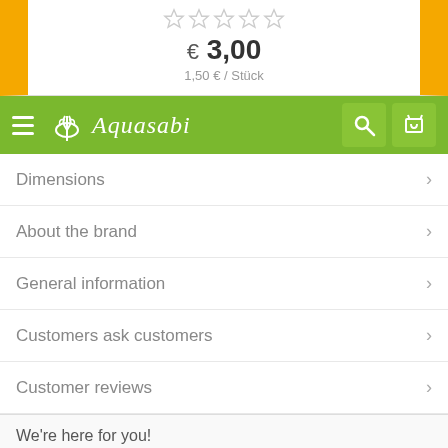€ 3,00
1,50 € / Stück
Aquasabi
Dimensions
About the brand
General information
Customers ask customers
Customer reviews
We're here for you!
Read our FAQ
Send us a question